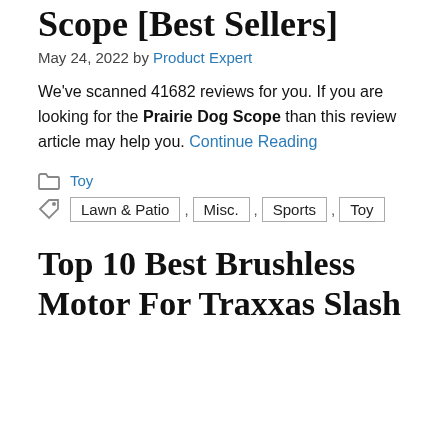Scope [Best Sellers]
May 24, 2022 by Product Expert
We've scanned 41682 reviews for you. If you are looking for the Prairie Dog Scope than this review article may help you. Continue Reading
Toy
Lawn & Patio , Misc. , Sports , Toy
Top 10 Best Brushless Motor For Traxxas Slash